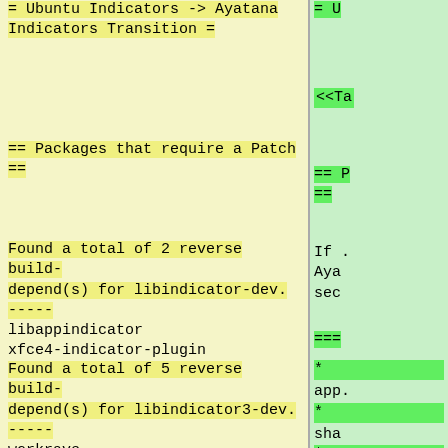= Ubuntu Indicators -> Ayatana Indicators Transition =
== Packages that require a Patch ==
Found a total of 2 reverse build-depend(s) for libindicator-dev.
-----
libappindicator
xfce4-indicator-plugin
Found a total of 5 reverse build-depend(s) for libindicator3-dev.
-----
workrave
budgie-indicator-applet
libappindicator